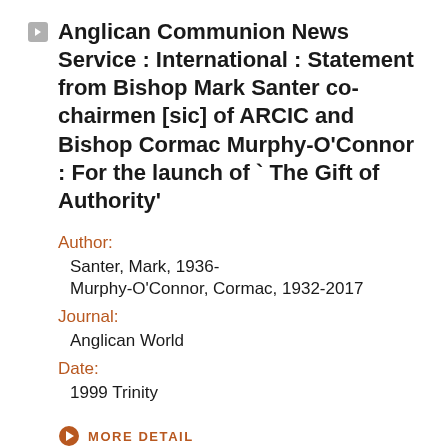Anglican Communion News Service : International : Statement from Bishop Mark Santer co-chairmen [sic] of ARCIC and Bishop Cormac Murphy-O'Connor : For the launch of ` The Gift of Authority'
Author:
Santer, Mark, 1936-
Murphy-O'Connor, Cormac, 1932-2017
Journal:
Anglican World
Date:
1999 Trinity
MORE DETAIL